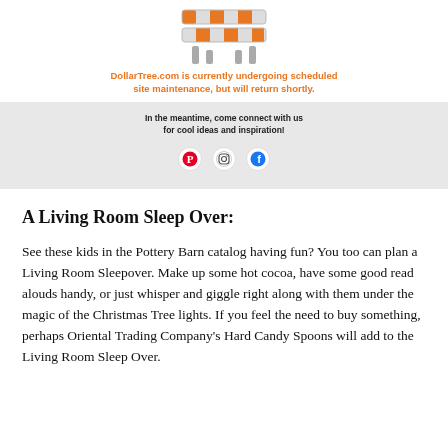[Figure (illustration): Road construction barrier (orange and white striped barricade) icon]
DollarTree.com is currently undergoing scheduled site maintenance, but will return shortly.
In the meantime, come connect with us for cool ideas and inspiration!
[Figure (infographic): Three social media icons: Pinterest (red P), Instagram (camera outline), Facebook (blue f)]
A Living Room Sleep Over:
See these kids in the Pottery Barn catalog having fun?  You too can plan a Living Room Sleepover.  Make up some hot cocoa, have some good read alouds handy, or just whisper and giggle right along with them under the magic of the Christmas Tree lights.  If you feel the need to buy something, perhaps Oriental Trading Company's Hard Candy Spoons will add to the Living Room Sleep Over.